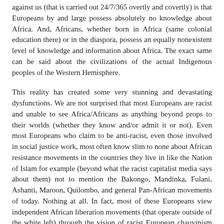against us (that is carried out 24/7/365 overtly and covertly) is that Europeans by and large possess absolutely no knowledge about Africa. And, Africans, whether born in Africa (same colonial education there) or in the diaspora, possess an equally nonexistent level of knowledge and information about Africa. The exact same can be said about the civilizations of the actual Indigenous peoples of the Western Hemisphere.
This reality has created some very stunning and devastating dysfunctions. We are not surprised that most Europeans are racist and unable to see Africa/Africans as anything beyond props to their worlds (whether they know and/or admit it or not). Even most Europeans who claim to be anti-racist, even those involved in social justice work, most often know slim to none about African resistance movements in the countries they live in like the Nation of Islam for example (beyond what the racist capitalist media says about them) not to mention the Bakongo, Mandinka, Fulani, Ashanti, Maroon, Quilombo, and general Pan-African movements of today. Nothing at all. In fact, most of these Europeans view independent African liberation movements (that operate outside of the white left) through the vision of racist European chauvinism i.e. since nationalism has been bad for